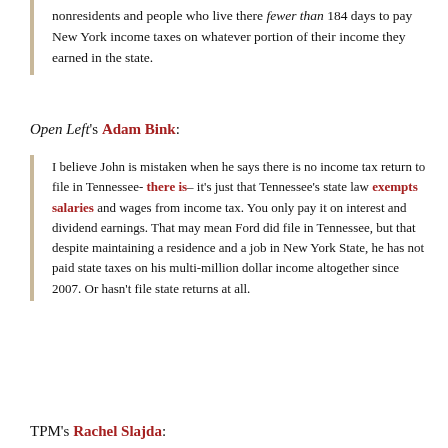nonresidents and people who live there fewer than 184 days to pay New York income taxes on whatever portion of their income they earned in the state.
Open Left's Adam Bink:
I believe John is mistaken when he says there is no income tax return to file in Tennessee- there is– it's just that Tennessee's state law exempts salaries and wages from income tax. You only pay it on interest and dividend earnings. That may mean Ford did file in Tennessee, but that despite maintaining a residence and a job in New York State, he has not paid state taxes on his multi-million dollar income altogether since 2007. Or hasn't file state returns at all.
TPM's Rachel Slajda: